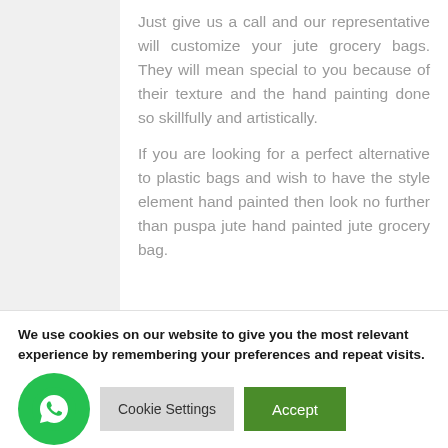Just give us a call and our representative will customize your jute grocery bags. They will mean special to you because of their texture and the hand painting done so skillfully and artistically.
If you are looking for a perfect alternative to plastic bags and wish to have the style element hand painted then look no further than puspa jute hand painted jute grocery bag.
We use cookies on our website to give you the most relevant experience by remembering your preferences and repeat visits. By clicking “Accept”, you consent to the use of ALL the cookies.
Do not sell my personal information.